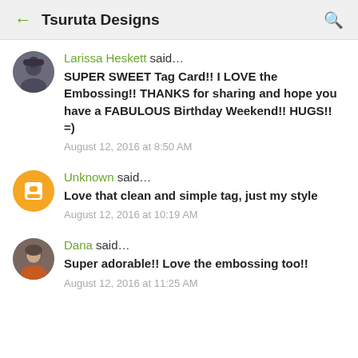Tsuruta Designs
Larissa Heskett said… SUPER SWEET Tag Card!! I LOVE the Embossing!! THANKS for sharing and hope you have a FABULOUS Birthday Weekend!! HUGS!! =) August 12, 2016 at 8:50 AM
Unknown said… Love that clean and simple tag, just my style August 12, 2016 at 10:19 AM
Dana said… Super adorable!! Love the embossing too!! August 12, 2016 at 11:25 AM